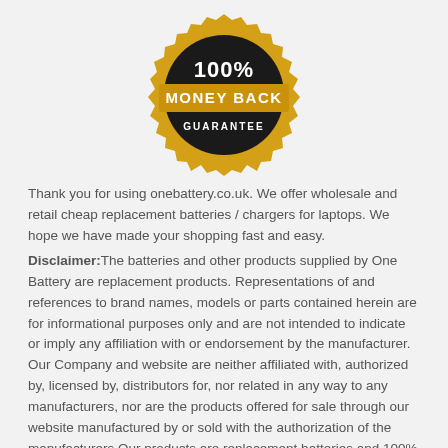[Figure (illustration): Gold and black circular badge with serrated edge reading '100% MONEY BACK GUARANTEE']
Thank you for using onebattery.co.uk. We offer wholesale and retail cheap replacement batteries / chargers for laptops. We hope we have made your shopping fast and easy. Disclaimer:The batteries and other products supplied by One Battery are replacement products. Representations of and references to brand names, models or parts contained herein are for informational purposes only and are not intended to indicate or imply any affiliation with or endorsement by the manufacturer. Our Company and website are neither affiliated with, authorized by, licensed by, distributors for, nor related in any way to any manufacturers, nor are the products offered for sale through our website manufactured by or sold with the authorization of the manufacturers.Our products are replacement batteries and 100% compatible for your laptop. The information contained in this website is for general information purposes only.
Shop with confidence! Onebattery.co.uk stands behind its products by carrying a 1-year warranty on most of our products. If you are